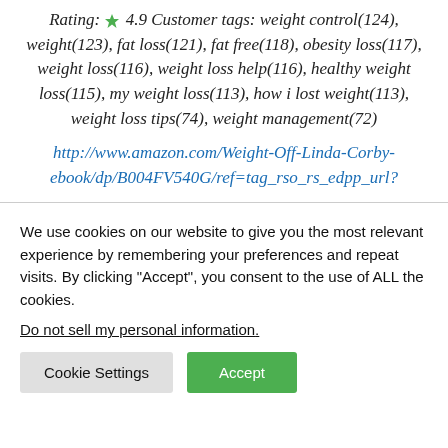Rating: 4.9 Customer tags: weight control(124), weight(123), fat loss(121), fat free(118), obesity loss(117), weight loss(116), weight loss help(116), healthy weight loss(115), my weight loss(113), how i lost weight(113), weight loss tips(74), weight management(72)
http://www.amazon.com/Weight-Off-Linda-Corby-ebook/dp/B004FV540G/ref=tag_rso_rs_edpp_url?
We use cookies on our website to give you the most relevant experience by remembering your preferences and repeat visits. By clicking "Accept", you consent to the use of ALL the cookies.
Do not sell my personal information.